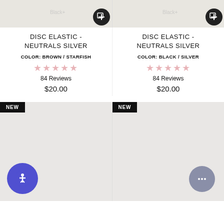[Figure (photo): Top portion of product image for Disc Elastic - Neutrals Silver, Brown/Starfish color, with add-to-cart button]
[Figure (photo): Top portion of product image for Disc Elastic - Neutrals Silver, Black/Silver color, with add-to-cart button]
DISC ELASTIC - NEUTRALS SILVER
COLOR: BROWN / STARFISH
84 Reviews
$20.00
DISC ELASTIC - NEUTRALS SILVER
COLOR: BLACK / SILVER
84 Reviews
$20.00
[Figure (photo): New product image placeholder, left column, light gray background with NEW badge]
[Figure (photo): New product image placeholder, right column, light gray background with NEW badge and chat button]